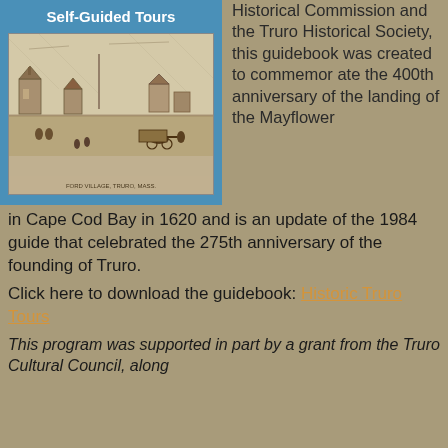Self-Guided Tours
[Figure (photo): Historical illustration of Ford Village, Truro, Mass. showing a rural scene with horse-drawn carriages, people, and buildings in the 19th century style engraving]
Historical Commission and the Truro Historical Society, this guidebook was created to commemorate the 400th anniversary of the landing of the Mayflower in Cape Cod Bay in 1620 and is an update of the 1984 guide that celebrated the 275th anniversary of the founding of Truro.
Click here to download the guidebook: Historic Truro Tours
This program was supported in part by a grant from the Truro Cultural Council, along somewhat their primary context of